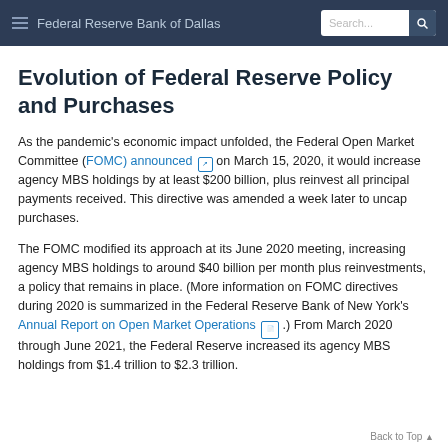Federal Reserve Bank of Dallas
Evolution of Federal Reserve Policy and Purchases
As the pandemic's economic impact unfolded, the Federal Open Market Committee (FOMC) announced on March 15, 2020, it would increase agency MBS holdings by at least $200 billion, plus reinvest all principal payments received. This directive was amended a week later to uncap purchases.
The FOMC modified its approach at its June 2020 meeting, increasing agency MBS holdings to around $40 billion per month plus reinvestments, a policy that remains in place. (More information on FOMC directives during 2020 is summarized in the Federal Reserve Bank of New York's Annual Report on Open Market Operations .) From March 2020 through June 2021, the Federal Reserve increased its agency MBS holdings from $1.4 trillion to $2.3 trillion.